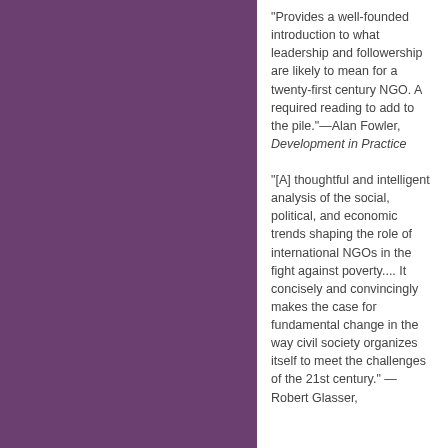"Provides a well-founded introduction to what leadership and followership are likely to mean for a twenty-first century NGO. A required reading to add to the pile."—Alan Fowler, Development in Practice
"[A] thoughtful and intelligent analysis of the social, political, and economic trends shaping the role of international NGOs in the fight against poverty.... It concisely and convincingly makes the case for fundamental change in the way civil society organizes itself to meet the challenges of the 21st century." — Robert Glasser,